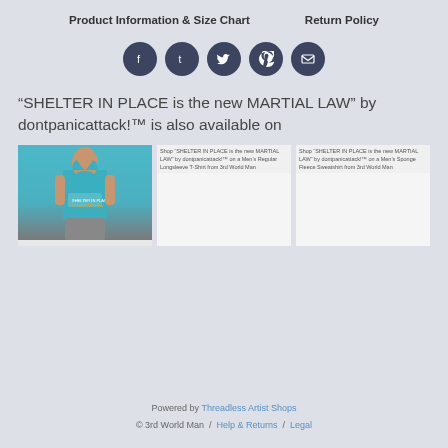Product Information & Size Chart    Return Policy
[Figure (illustration): Row of five dark navy circular social media icons: Facebook, Tumblr, Twitter, Pinterest, Email]
“SHELTER IN PLACE is the new MARTIAL LAW” by dontpanicattack!™ is also available on
[Figure (photo): Person wearing a teal/blue tank top with graphic print, grey shorts]
Shop “SHELTER IN PLACE is the new MARTIAL LAW” by dontpanicattack!™ on a Men’s Regular Longsleeve T-Shirt from 3rd World Man
Shop “SHELTER IN PLACE is the new MARTIAL LAW” by dontpanicattack!™ on a Men’s Sponge Fleece Sweatshirt from 3rd World Man
Powered by Threadless Artist Shops
© 3rd World Man  /  Help & Returns  /  Legal